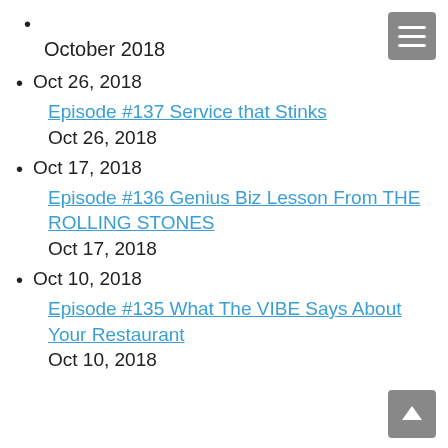•
October 2018
Oct 26, 2018
Episode #137 Service that Stinks
Oct 26, 2018
Oct 17, 2018
Episode #136 Genius Biz Lesson From THE ROLLING STONES
Oct 17, 2018
Oct 10, 2018
Episode #135 What The VIBE Says About Your Restaurant
Oct 10, 2018